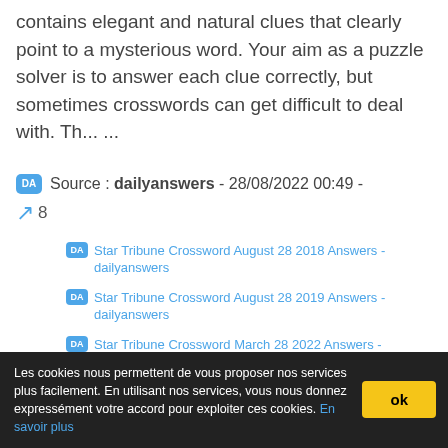contains elegant and natural clues that clearly point to a mysterious word. Your aim as a puzzle solver is to answer each clue correctly, but sometimes crosswords can get difficult to deal with. Th... ...
Source : dailyanswers - 28/08/2022 00:49 -
8
Star Tribune Crossword August 28 2018 Answers - dailyanswers
Star Tribune Crossword August 28 2019 Answers - dailyanswers
Star Tribune Crossword March 28 2022 Answers - dailyanswers
Les cookies nous permettent de vous proposer nos services plus facilement. En utilisant nos services, vous nous donnez expressément votre accord pour exploiter ces cookies. En savoir plus